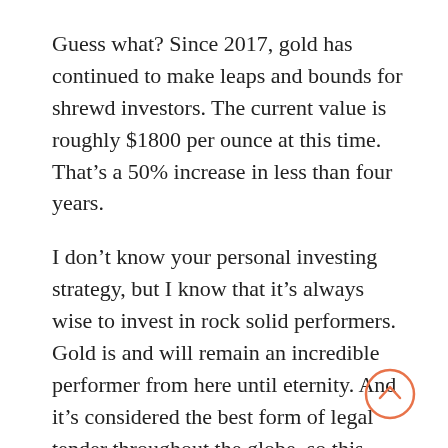Guess what? Since 2017, gold has continued to make leaps and bounds for shrewd investors. The current value is roughly $1800 per ounce at this time. That's a 50% increase in less than four years.
I don't know your personal investing strategy, but I know that it's always wise to invest in rock solid performers. Gold is and will remain an incredible performer from here until eternity. And it's considered the best form of legal tender throughout the globe, so this valuable commodity isn't going anywhere.
Are you ready to make the most of your retirement? Begin investing in a gold IRA
[Figure (other): A circular scroll-up button with an orange/red border and an upward-pointing chevron arrow inside.]